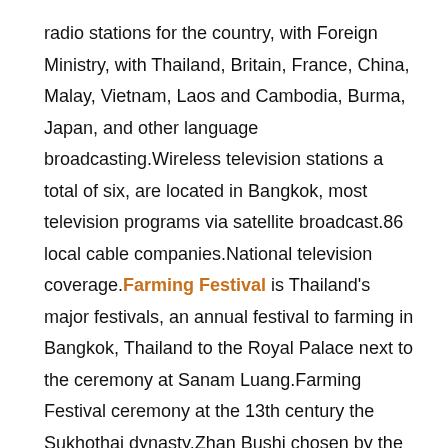radio stations for the country, with Foreign Ministry, with Thailand, Britain, France, China, Malay, Vietnam, Laos and Cambodia, Burma, Japan, and other language broadcasting.Wireless television stations a total of six, are located in Bangkok, most television programs via satellite broadcast.86 local cable companies.National television coverage.Farming Festival is Thailand's major festivals, an annual festival to farming in Bangkok, Thailand to the Royal Palace next to the ceremony at Sanam Luang.Farming Festival ceremony at the 13th century the Sukhothai dynasty.Zhan Bushi chosen by the festival in May each year (Thailand Lunar June) a really good time in accordance with the auspicious days of practices Brahmanism held.The main official in the horn sounds plow pulled by two white in the Bulls pull the wooden plow till the fields six gold ring, two gold pick Tam Tam silver and two pick the girl with the wooden plow behind, the main official from time to time from the plough Tam and banks in the Valley and produce a kind of eat in the fields.Till the fields planting ceremony, around the square around the tens of thousands of people